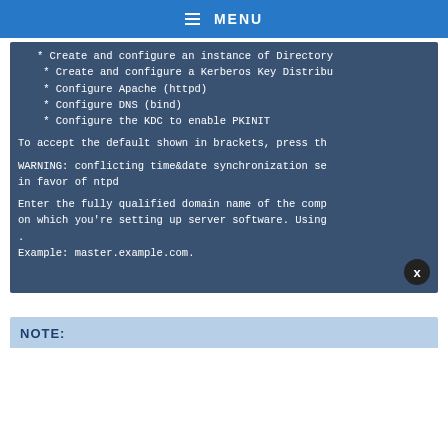MENU
* Create and configure an instance of Directory
* Create and configure a Kerberos Key Distribu
* Configure Apache (httpd)
* Configure DNS (bind)
* Configure the KDC to enable PKINIT
To accept the default shown in brackets, press th
WARNING: conflicting time&date synchronization se
in favor of ntpd
Enter the fully qualified domain name of the comp
on which you're setting up server software. Using
.
Example: master.example.com.
NOTE: